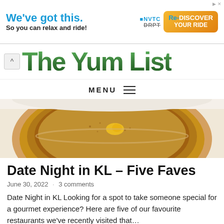[Figure (infographic): Advertisement banner: 'We've got this. So you can relax and ride!' with NVTC and DRPT Re-DISCOVER YOUR RIDE logos]
The Yum List
MENU ≡
[Figure (photo): Close-up photo of a dessert dish, likely a creme brulee or similar custard with a yellow garnish on top, served in a round bowl on a white textured surface]
Date Night in KL – Five Faves
June 30, 2022 · 3 comments
Date Night in KL Looking for a spot to take someone special for a gourmet experience? Here are five of our favourite restaurants we've recently visited that…